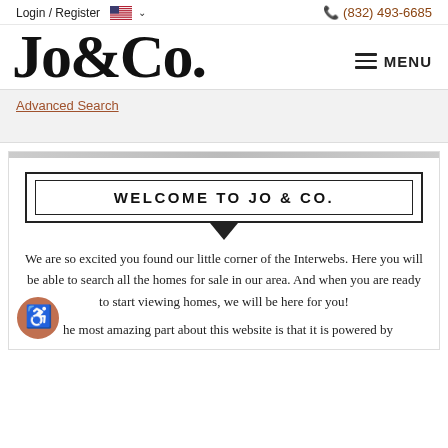Login / Register   (832) 493-6685
Jo&Co.
Advanced Search
WELCOME TO JO & CO.
We are so excited you found our little corner of the Interwebs. Here you will be able to search all the homes for sale in our area. And when you are ready to start viewing homes, we will be here for you!
he most amazing part about this website is that it is powered by